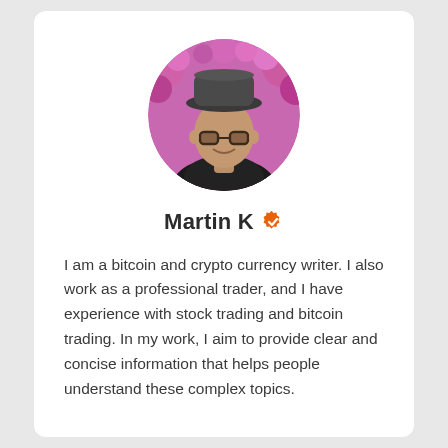[Figure (photo): Circular profile photo of a man wearing a dark hat and glasses, smiling, with pink flowers in the background]
Martin K ✔
I am a bitcoin and crypto currency writer. I also work as a professional trader, and I have experience with stock trading and bitcoin trading. In my work, I aim to provide clear and concise information that helps people understand these complex topics.